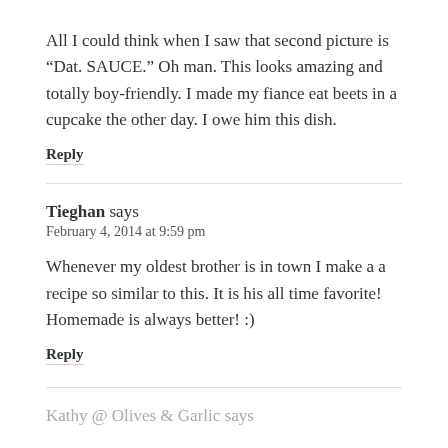All I could think when I saw that second picture is “Dat. SAUCE.” Oh man. This looks amazing and totally boy-friendly. I made my fiance eat beets in a cupcake the other day. I owe him this dish.
Reply
Tieghan says
February 4, 2014 at 9:59 pm
Whenever my oldest brother is in town I make a a recipe so similar to this. It is his all time favorite! Homemade is always better! :)
Reply
Kathy @ Olives & Garlic says